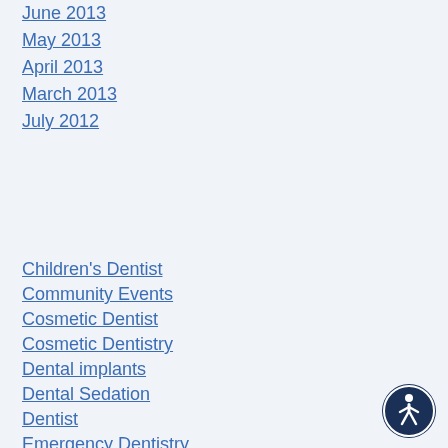June 2013
May 2013
April 2013
March 2013
July 2012
Children's Dentist
Community Events
Cosmetic Dentist
Cosmetic Dentistry
Dental implants
Dental Sedation
Dentist
Emergency Dentistry
Family Dentist
[Figure (illustration): Accessibility icon - person in circle, dark navy background]